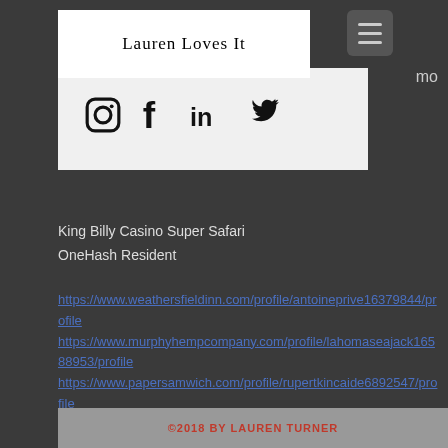LAUREN LOVES IT
[Figure (other): Social media icons: Instagram, Facebook, LinkedIn, Twitter]
mo
King Billy Casino Super Safari
OneHash Resident
https://www.weathersfieldinn.com/profile/antoineprive16379844/profile
https://www.murphyhempcompany.com/profile/lahomaseajack16588953/profile
https://www.papersamwich.com/profile/rupertkincaide6892547/profile
https://www.betterwithbrandi.net/profile/jacintolipson16051354/profile
©2018 BY LAUREN TURNER